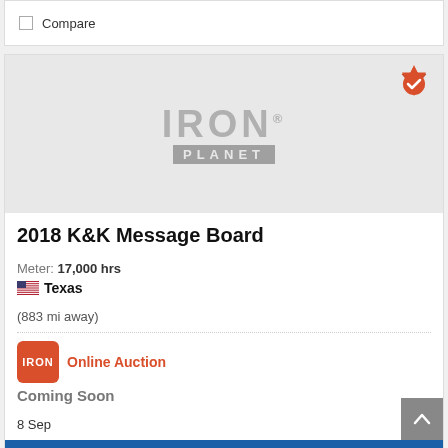Compare
[Figure (logo): IronPlanet logo on grey background with orange verified badge in top right corner]
2018 K&K Message Board
Meter: 17,000 hrs
Texas (883 mi away)
Online Auction
Coming Soon
8 Sep
Add to Watch List